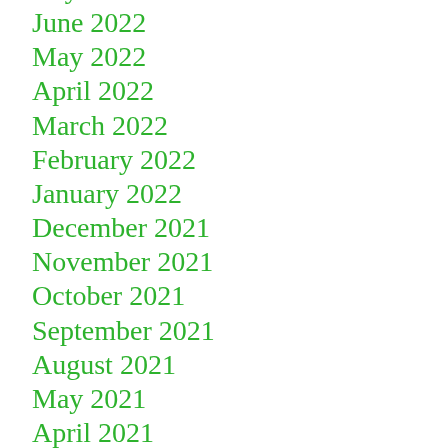July 2022
June 2022
May 2022
April 2022
March 2022
February 2022
January 2022
December 2021
November 2021
October 2021
September 2021
August 2021
May 2021
April 2021
March 2021
February 2021